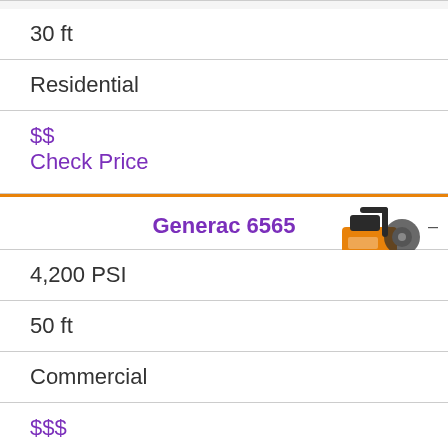30 ft
Residential
$$
Check Price
Generac 6565
[Figure (photo): Orange and black Generac 6565 pressure washer on wheels]
4,200 PSI
50 ft
Commercial
$$$